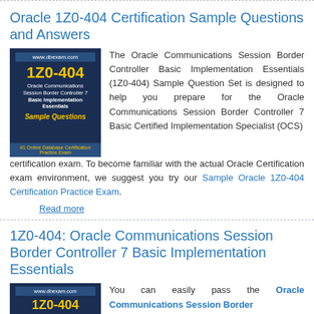Oracle 1Z0-404 Certification Sample Questions and Answers
[Figure (illustration): Book cover image for 1Z0-404 Oracle Communications Session Border Controller 7 Basic Implementation Essentials Sample Questions from www.dbexam.com]
The Oracle Communications Session Border Controller Basic Implementation Essentials (1Z0-404) Sample Question Set is designed to help you prepare for the Oracle Communications Session Border Controller 7 Basic Certified Implementation Specialist (OCS) certification exam. To become familiar with the actual Oracle Certification exam environment, we suggest you try our Sample Oracle 1Z0-404 Certification Practice Exam.
Read more
1Z0-404: Oracle Communications Session Border Controller 7 Basic Implementation Essentials
[Figure (illustration): Book cover image for 1Z0-404 from www.dbexam.com (partial, bottom of page)]
You can easily pass the Oracle Communications Session Border